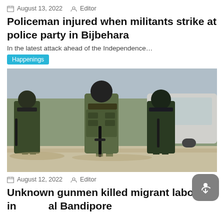August 13, 2022   Editor
Policeman injured when militants strike at police party in Bijbehara
In the latest attack ahead of the Independence…
Happenings
[Figure (photo): Armed security personnel in military camouflage gear and face masks holding rifles, standing in front of a white vehicle]
August 12, 2022   Editor
Unknown gunmen killed migrant labourer in Bandipore